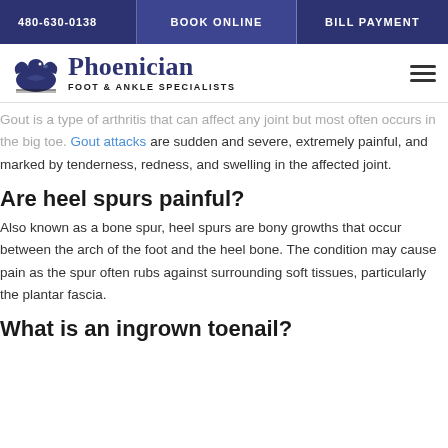480-630-0138  BOOK ONLINE  BILL PAYMENT
[Figure (logo): Phoenician Foot & Ankle Specialists logo with eagle/bird graphic and text]
Gout is a type of arthritis that can affect any joint but most often occurs in the big toe. Gout attacks are sudden and severe, extremely painful, and marked by tenderness, redness, and swelling in the affected joint.
Are heel spurs painful?
Also known as a bone spur, heel spurs are bony growths that occur between the arch of the foot and the heel bone. The condition may cause pain as the spur often rubs against surrounding soft tissues, particularly the plantar fascia.
What is an ingrown toenail?